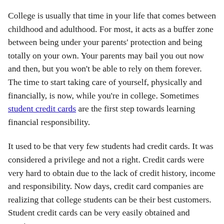College is usually that time in your life that comes between childhood and adulthood. For most, it acts as a buffer zone between being under your parents' protection and being totally on your own. Your parents may bail you out now and then, but you won't be able to rely on them forever. The time to start taking care of yourself, physically and financially, is now, while you're in college. Sometimes student credit cards are the first step towards learning financial responsibility.
It used to be that very few students had credit cards. It was considered a privilege and not a right. Credit cards were very hard to obtain due to the lack of credit history, income and responsibility. Now days, credit card companies are realizing that college students can be their best customers. Student credit cards can be very easily obtained and require